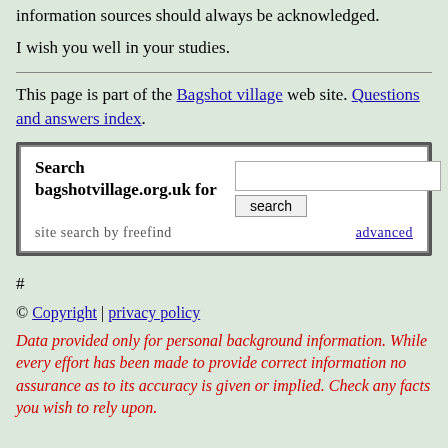information sources should always be acknowledged.
I wish you well in your studies.
This page is part of the Bagshot village web site. Questions and answers index.
[Figure (other): Search box for bagshotvillage.org.uk with text input, search button, and site search by freefind with advanced link]
#
© Copyright | privacy policy
Data provided only for personal background information. While every effort has been made to provide correct information no assurance as to its accuracy is given or implied. Check any facts you wish to rely upon.